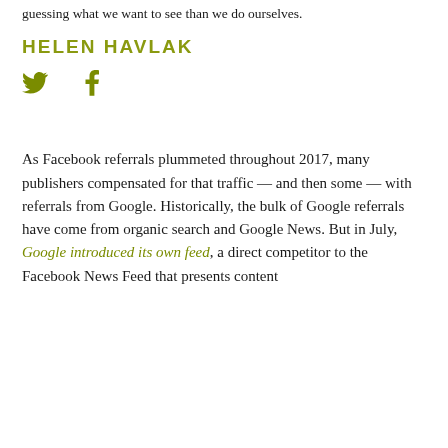guessing what we want to see than we do ourselves.
HELEN HAVLAK
[Figure (illustration): Twitter bird icon and Facebook 'f' icon in olive/yellow-green color]
As Facebook referrals plummeted throughout 2017, many publishers compensated for that traffic — and then some — with referrals from Google. Historically, the bulk of Google referrals have come from organic search and Google News. But in July, Google introduced its own feed, a direct competitor to the Facebook News Feed that presents content